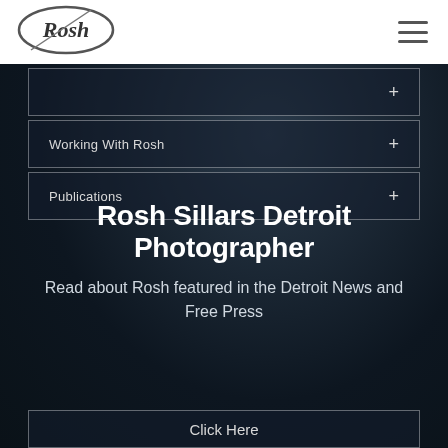[Figure (logo): Rosh photography logo — stylized cursive 'Rosh' text inside an oval shape]
[Figure (other): Hamburger menu icon (three horizontal lines) in top right corner]
Working With Rosh  +
Publications  +
Rosh Sillars Detroit Photographer
Read about Rosh featured in the Detroit News and Free Press
Click Here